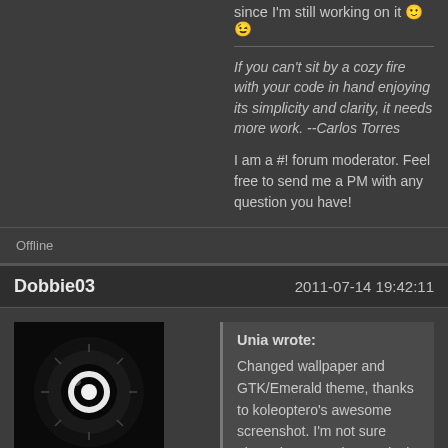since I'm still working on it 🙂 😉
If you can't sit by a cozy fire with your code in hand enjoying its simplicity and clarity, it needs more work. --Carlos Torres
I am a #! forum moderator. Feel free to send me a PM with any question you have!
Offline
Dobbie03   2011-07-14 19:42:11
[Figure (photo): Avatar image of Dobbie03 — dark image showing a stylized eye or lens with circular light]
Unia wrote: Changed wallpaper and GTK/Emerald theme, thanks to koleoptero's awesome screenshot. I'm not sure about the second AWN dock in the top right corner, e.g. the system tray. What do you think?